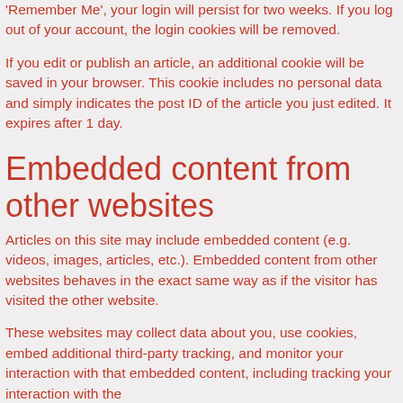'Remember Me', your login will persist for two weeks. If you log out of your account, the login cookies will be removed.
If you edit or publish an article, an additional cookie will be saved in your browser. This cookie includes no personal data and simply indicates the post ID of the article you just edited. It expires after 1 day.
Embedded content from other websites
Articles on this site may include embedded content (e.g. videos, images, articles, etc.). Embedded content from other websites behaves in the exact same way as if the visitor has visited the other website.
These websites may collect data about you, use cookies, embed additional third-party tracking, and monitor your interaction with that embedded content, including tracking your interaction with the